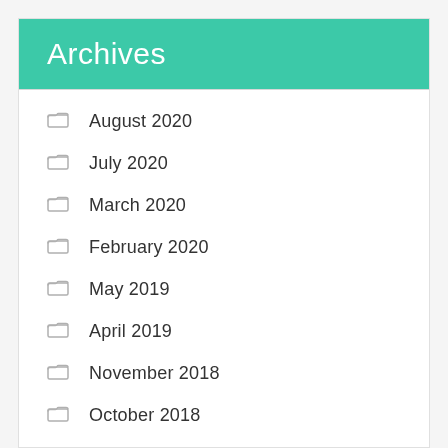Archives
August 2020
July 2020
March 2020
February 2020
May 2019
April 2019
November 2018
October 2018
August 2018